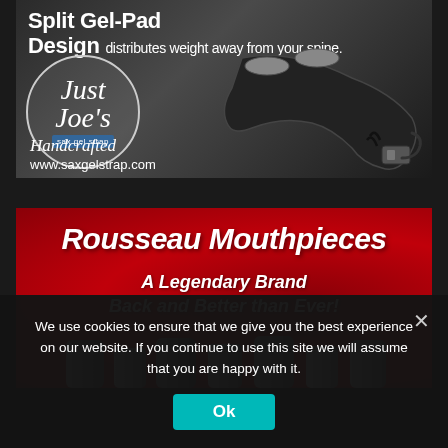[Figure (illustration): Advertisement for Just Joe's Sax Gel Strap. Dark background showing a saxophone neck strap with split gel-pad design. Headline reads 'Split Gel-Pad Design distributes weight away from your spine.' Logo shows Just Joe's sax gel strap in a circle with a cartoon figure. Text: 'Handcrafted www.saxgelstrap.com']
[Figure (illustration): Advertisement for Rousseau Mouthpieces on red background. Text: 'Rousseau Mouthpieces A Legendary Brand Back and Better than Ever!' with mouthpieces visible at bottom.]
We use cookies to ensure that we give you the best experience on our website. If you continue to use this site we will assume that you are happy with it.